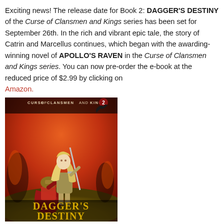Exciting news! The release date for Book 2: DAGGER'S DESTINY of the Curse of Clansmen and Kings series has been set for September 26th. In the rich and vibrant epic tale, the story of Catrin and Marcellus continues, which began with the awarding-winning novel of APOLLO'S RAVEN in the Curse of Clansmen and Kings series. You can now pre-order the e-book at the reduced price of $2.99 by clicking on Amazon.
[Figure (illustration): Book cover of Dagger's Destiny, Book 2 of the Curse of Clansmen and Kings series. Shows a blonde woman in armor holding a sword standing over a kneeling man in red Roman armor, against a dramatic orange fiery sky background. A black raven appears at the top. Title 'DAGGER'S DESTINY' appears at the bottom in gold letters.]